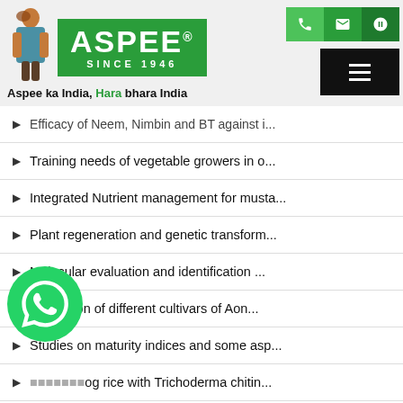[Figure (logo): Aspee logo with green box, 'SINCE 1946', tagline 'Aspee ka India, Hara bhara India']
▶ Efficacy of Neem, Nimbin and BT against i...
▶ Training needs of vegetable growers in o...
▶ Integrated Nutrient management for musta...
▶ Plant regeneration and genetic transform...
▶ Molecular evaluation and identification ...
▶ Evaluation of different cultivars of Aon...
▶ Studies on maturity indices and some asp...
▶ ...og rice with Trichoderma chitin...
▶ ...ge behaviour of Onion slice durin...
▶ Development of process for Kesar Mango P...